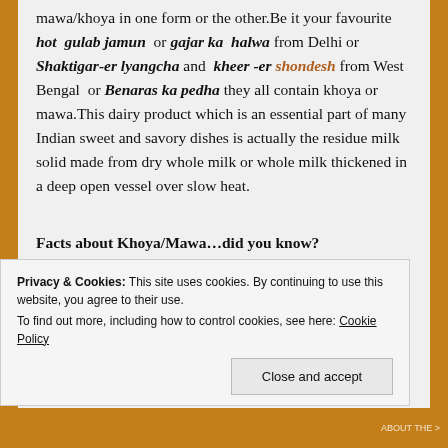mawa/khoya in one form or the other.Be it your favourite hot gulab jamun or gajar ka halwa from Delhi or Shaktigar-er lyangcha and kheer -er shondesh from West Bengal or Benaras ka pedha they all contain khoya or mawa.This dairy product which is an essential part of many Indian sweet and savory dishes is actually the residue milk solid made from dry whole milk or whole milk thickened in a deep open vessel over slow heat.
Facts about Khoya/Mawa...did you know?
Privacy & Cookies: This site uses cookies. By continuing to use this website, you agree to their use.
To find out more, including how to control cookies, see here: Cookie Policy